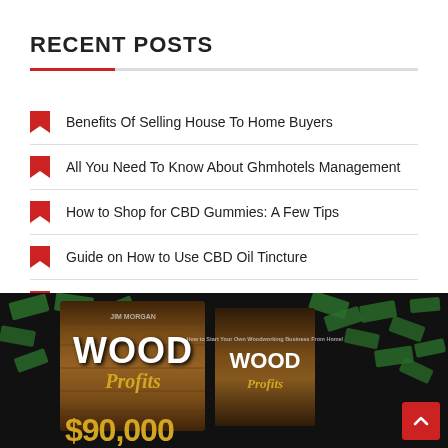RECENT POSTS
Benefits Of Selling House To Home Buyers
All You Need To Know About Ghmhotels Management
How to Shop for CBD Gummies: A Few Tips
Guide on How to Use CBD Oil Tincture
Essential For Healthy and Safe Living Environment
[Figure (photo): Wood Profits book cover showing '$90,000' text with money scattered in background, dark background with brown wooden book design]